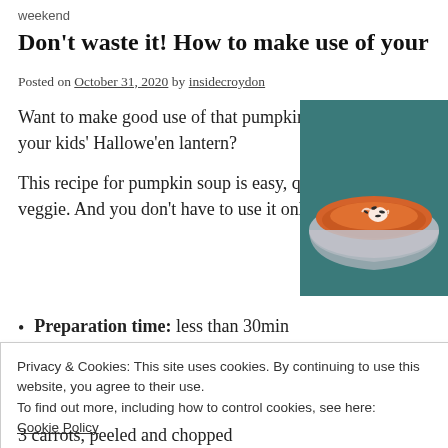weekend
Don't waste it! How to make use of your
Posted on October 31, 2020 by insidecroydon
Want to make good use of that pumpkin flesh carved out of your kids' Hallowe'en lantern?
This recipe for pumpkin soup is easy, quick and entirely veggie. And you don't have to use it only at Hallowe'en.
[Figure (photo): Bowl of orange pumpkin soup with cream swirl and seeds on top, on a dark teal background]
Preparation time: less than 30min
Privacy & Cookies: This site uses cookies. By continuing to use this website, you agree to their use.
To find out more, including how to control cookies, see here: Cookie Policy
3 carrots, peeled and chopped